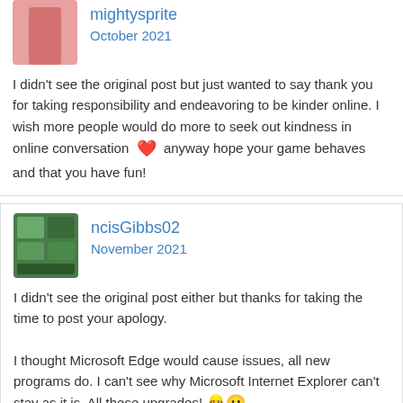mightysprite
October 2021
I didn't see the original post but just wanted to say thank you for taking responsibility and endeavoring to be kinder online. I wish more people would do more to seek out kindness in online conversation ❤️ anyway hope your game behaves and that you have fun!
ncisGibbs02
November 2021
I didn't see the original post either but thanks for taking the time to post your apology.

I thought Microsoft Edge would cause issues, all new programs do. I can't see why Microsoft Internet Explorer can't stay as it is. All these upgrades! 👷😐 .

Hoping your game is better! 😁